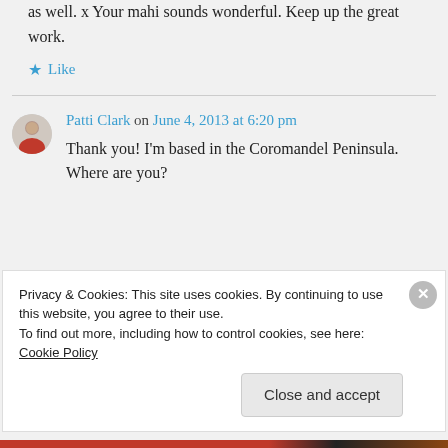as well. x Your mahi sounds wonderful. Keep up the great work.
★ Like
Patti Clark on June 4, 2013 at 6:20 pm
Thank you! I'm based in the Coromandel Peninsula. Where are you?
Privacy & Cookies: This site uses cookies. By continuing to use this website, you agree to their use.
To find out more, including how to control cookies, see here: Cookie Policy
Close and accept